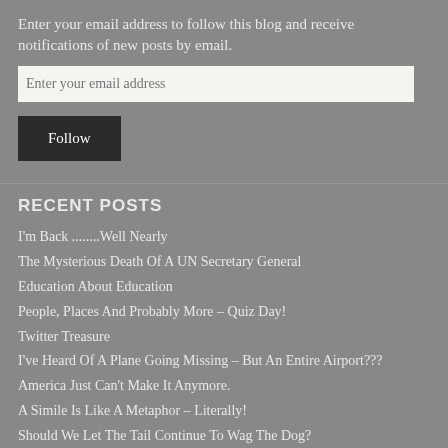Enter your email address to follow this blog and receive notifications of new posts by email.
Enter your email address
Follow
RECENT POSTS
I'm Back ........Well Nearly
The Mysterious Death Of A UN Secretary General
Education About Education
People, Places And Probably More – Quiz Day!
Twitter Treasure
I've Heard Of A Plane Going Missing – But An Entire Airport???
America Just Can't Make It Anymore.
A Simile Is Like A Metaphor – Literally!
Should We Let The Tail Continue To Wag The Dog?
Gray And White Matters.